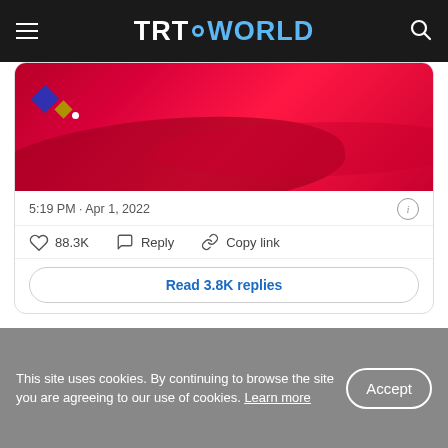TRT WORLD
[Figure (screenshot): Cropped tweet card showing a red decorative image with diamond shapes and wave patterns, timestamp 5:19 PM · Apr 1, 2022, like count 88.3K, Reply and Copy link actions, and a Read 3.8K replies button]
Stars collide
This site uses cookies. By continuing to browse the site you are agreeing to our use of cookies. Learn more